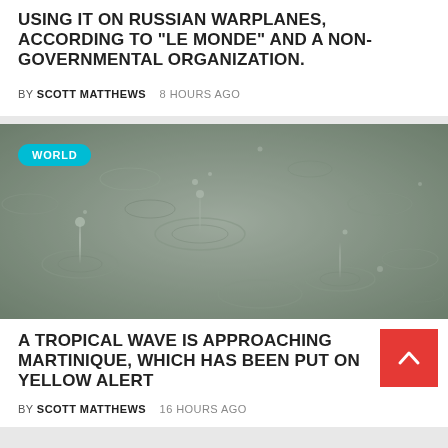USING IT ON RUSSIAN WARPLANES, ACCORDING TO “LE MONDE” AND A NON-GOVERNMENTAL ORGANIZATION.
BY SCOTT MATTHEWS  8 HOURS AGO
[Figure (photo): Close-up black and white photograph of raindrops hitting a water surface, creating ripples and splashes. A cyan 'WORLD' badge is overlaid on the top-left of the image.]
A TROPICAL WAVE IS APPROACHING MARTINIQUE, WHICH HAS BEEN PUT ON YELLOW ALERT
BY SCOTT MATTHEWS  16 HOURS AGO